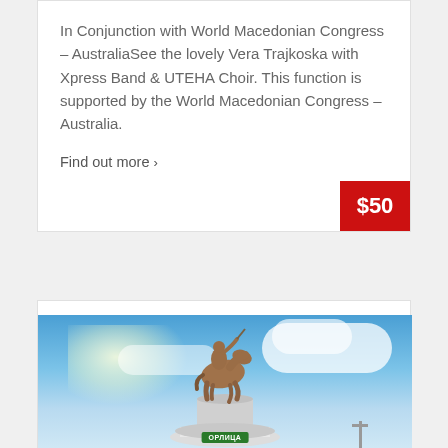In Conjunction with World Macedonian Congress – AustraliaSee the lovely Vera Trajkoska with Xpress Band & UTEHA Choir. This function is supported by the World Macedonian Congress – Australia.
Find out more ›
$50
[Figure (photo): Bronze equestrian statue on a circular white pedestal against a blue sky with clouds, with a green street sign visible at the bottom]